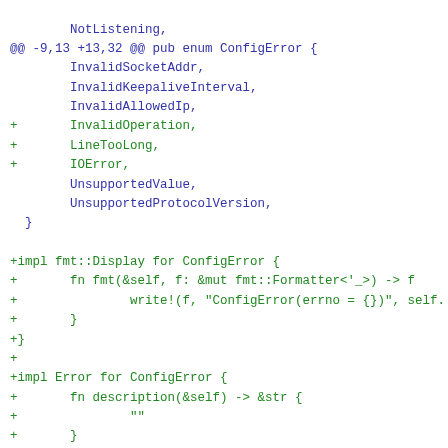Code diff showing additions to ConfigError enum and impl blocks for fmt::Display and Error traits